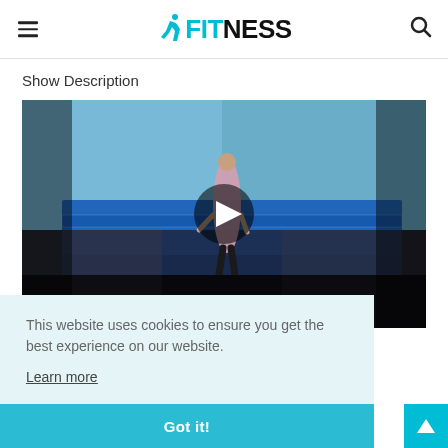FITNESS (logo with runner icon)
Show Description
[Figure (screenshot): Video thumbnail showing a gymnast performing on a floor exercise in an arena with audience. A circular play button is displayed in the center of the video frame.]
This website uses cookies to ensure you get the best experience on our website.
Learn more
Got it!